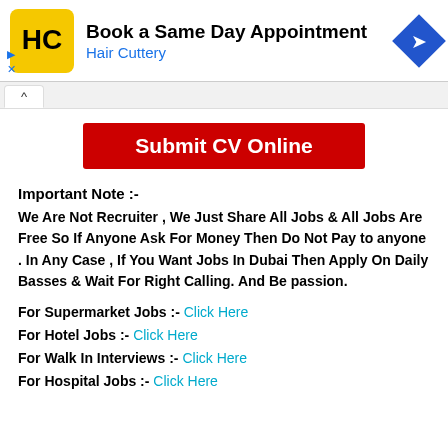[Figure (logo): Hair Cuttery advertisement banner with HC logo, text 'Book a Same Day Appointment / Hair Cuttery', and a blue navigation arrow icon]
Submit CV Online
Important Note :-
We Are Not Recruiter , We Just Share All Jobs & All Jobs Are Free So If Anyone Ask For Money Then Do Not Pay to anyone . In Any Case , If You Want Jobs In Dubai Then Apply On Daily Basses & Wait For Right Calling. And Be passion.
For Supermarket Jobs :- Click Here
For Hotel Jobs :- Click Here
For Walk In Interviews :- Click Here
For Hospital Jobs :- Click Here